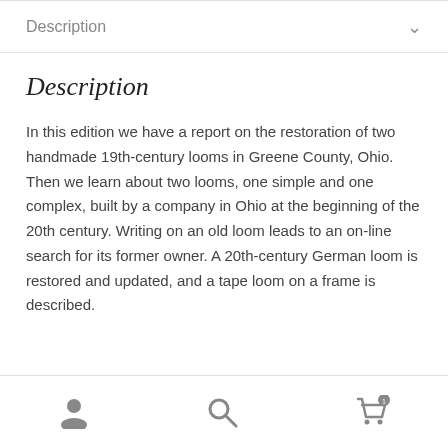Description
Description
In this edition we have a report on the restoration of two handmade 19th-century looms in Greene County, Ohio. Then we learn about two looms, one simple and one complex, built by a company in Ohio at the beginning of the 20th century. Writing on an old loom leads to an on-line search for its former owner. A 20th-century German loom is restored and updated, and a tape loom on a frame is described.